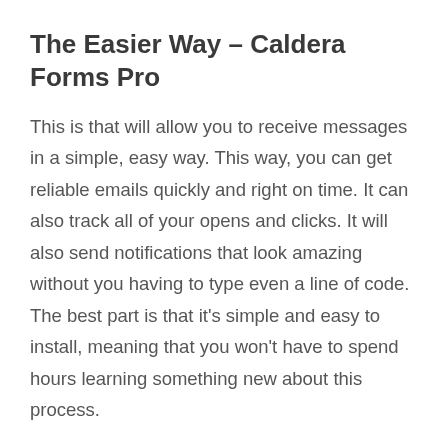The Easier Way – Caldera Forms Pro
This is that will allow you to receive messages in a simple, easy way. This way, you can get reliable emails quickly and right on time. It can also track all of your opens and clicks. It will also send notifications that look amazing without you having to type even a line of code. The best part is that it's simple and easy to install, meaning that you won't have to spend hours learning something new about this process.